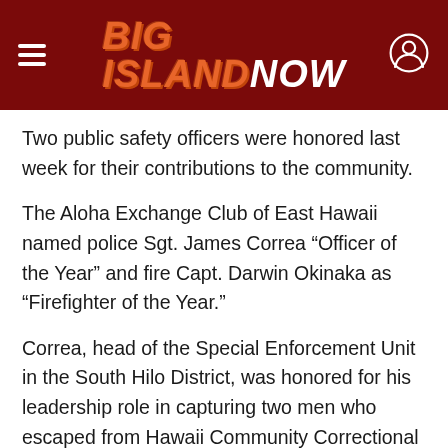BIG ISLAND NOW
Two public safety officers were honored last week for their contributions to the community.
The Aloha Exchange Club of East Hawaii named police Sgt. James Correa “Officer of the Year” and fire Capt. Darwin Okinaka as “Firefighter of the Year.”
Correa, head of the Special Enforcement Unit in the South Hilo District, was honored for his leadership role in capturing two men who escaped from Hawaii Community Correctional Center in December 2012.
Correa lead East Hawaii efforts to capture Jarvis Higa and Ryan Jeffries-Hamar, who assaulted a guard and